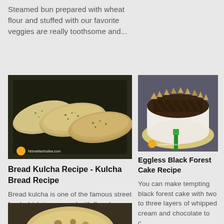Steamed bun prepared with wheat flour and stuffed with our favorite veggies are really toothsome and...
[Figure (photo): Bread kulcha flatbreads with herbs on a dark tray, watermark NishaMadhulika.com]
Bread Kulcha Recipe - Kulcha Bread Recipe
Bread kulcha is one of the famous street food which is prepared with flour by adding yeast. Make the...
[Figure (photo): Eggless Black Forest Cake with whipped cream, chocolate shavings and chocolate pieces on top, watermark NishaMadhulika]
Eggless Black Forest Cake Recipe
You can make tempting black forest cake with two to three layers of whipped cream and chocolate to c...
[Figure (photo): Bottom partial view of a flatbread/kulcha on dark background]